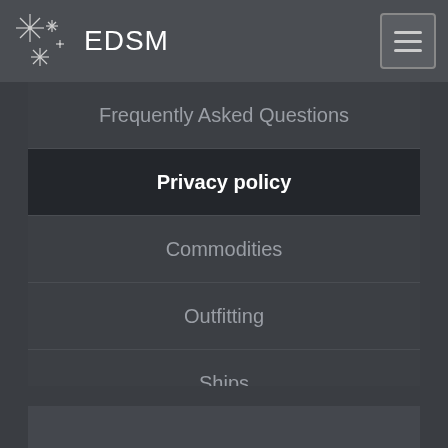EDSM
Frequently Asked Questions
Privacy policy
Commodities
Outfitting
Ships
Celestial bodies